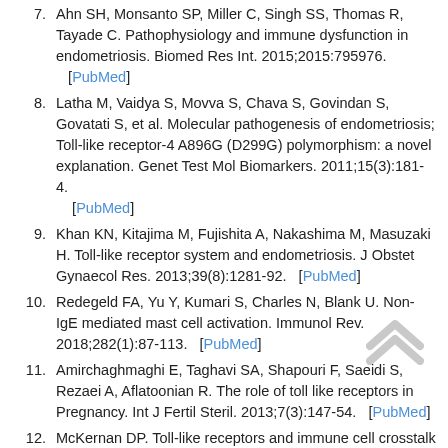7. Ahn SH, Monsanto SP, Miller C, Singh SS, Thomas R, Tayade C. Pathophysiology and immune dysfunction in endometriosis. Biomed Res Int. 2015;2015:795976. [PubMed]
8. Latha M, Vaidya S, Movva S, Chava S, Govindan S, Govatati S, et al. Molecular pathogenesis of endometriosis; Toll-like receptor-4 A896G (D299G) polymorphism: a novel explanation. Genet Test Mol Biomarkers. 2011;15(3):181-4. [PubMed]
9. Khan KN, Kitajima M, Fujishita A, Nakashima M, Masuzaki H. Toll-like receptor system and endometriosis. J Obstet Gynaecol Res. 2013;39(8):1281-92. [PubMed]
10. Redegeld FA, Yu Y, Kumari S, Charles N, Blank U. Non-IgE mediated mast cell activation. Immunol Rev. 2018;282(1):87-113. [PubMed]
11. Amirchaghmaghi E, Taghavi SA, Shapouri F, Saeidi S, Rezaei A, Aflatoonian R. The role of toll like receptors in Pregnancy. Int J Fertil Steril. 2013;7(3):147-54. [PubMed]
12. McKernan DP. Toll-like receptors and immune cell crosstalk in the intestinal epithelium. AIMS Allergy Immunol. 2019;3(1):13.
13. Takeda K, Kaisho T, Akira S. Toll-like receptors. Annu Rev Immunol. 2003;21:335-76. [PubMed]